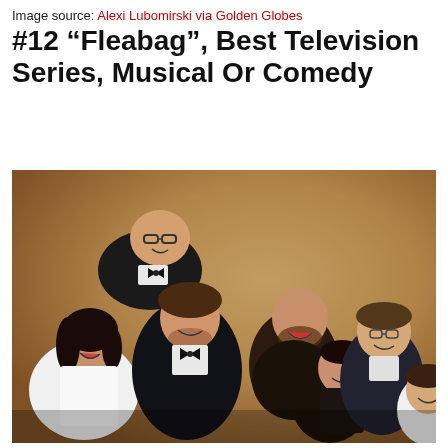Image source: Alexi Lubomirski via Golden Globes
#12 “Fleabag”, Best Television Series, Musical Or Comedy
[Figure (photo): Group photo of the Fleabag cast and crew celebrating their Golden Globe win, posed in formal attire against a warm golden-brown background.]